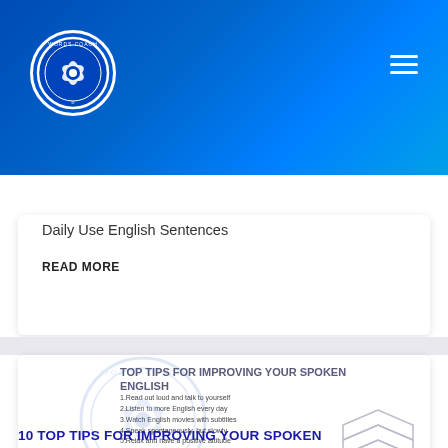[Figure (logo): Words Coach circular logo with camera aperture icon on blue background with white border]
Daily Use English Sentences
READ MORE
[Figure (infographic): Top Tips For Improving Your Spoken English infographic with numbered list of 10 tips and Words Coach watermark logo]
10 TOP TIPS FOR IMPROVING YOUR SPOKEN